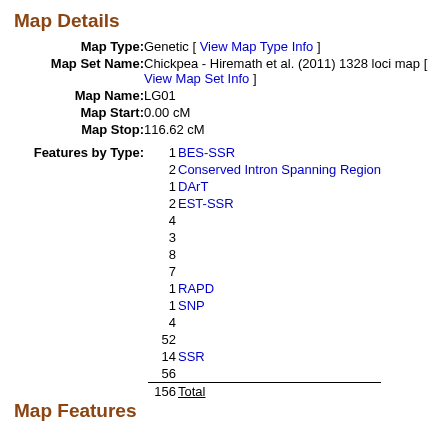Map Details
| Map Type: | Genetic [ View Map Type Info ] |
| Map Set Name: | Chickpea - Hiremath et al. (2011) 1328 loci map [ View Map Set Info ] |
| Map Name: | LG01 |
| Map Start: | 0.00 cM |
| Map Stop: | 116.62 cM |
1 BES-SSR
2 Conserved Intron Spanning Region
1 DArT
2 EST-SSR
4
3
8
7
1 RAPD
1 SNP
4
52
14 SSR
56
156 Total
Map Features